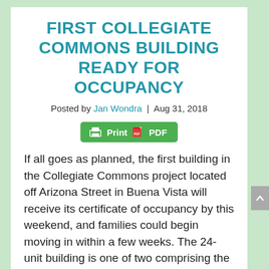FIRST COLLEGIATE COMMONS BUILDING READY FOR OCCUPANCY
Posted by Jan Wondra | Aug 31, 2018
[Figure (other): Print / PDF button — a green button with printer icon and PDF icon]
If all goes as planned, the first building in the Collegiate Commons project located off Arizona Street in Buena Vista will receive its certificate of occupancy by this weekend, and families could begin moving in within a few weeks. The 24-unit building is one of two comprising the 48-unit, $11.7 million affordable housing